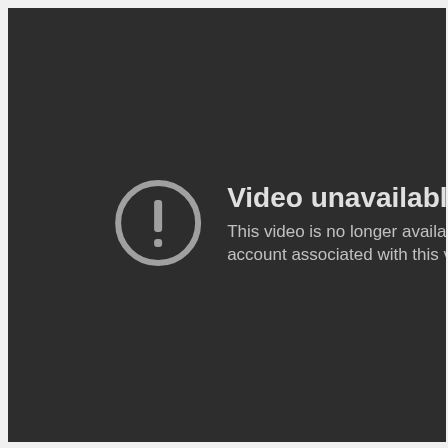[Figure (screenshot): YouTube-style 'Video unavailable' error screen on a dark gray background. A gray circle with an exclamation mark icon is shown on the left, and to the right is bold white text 'Video unavailable' with a subtitle 'This video is no longer available because the account associated with this video has been terminated.']